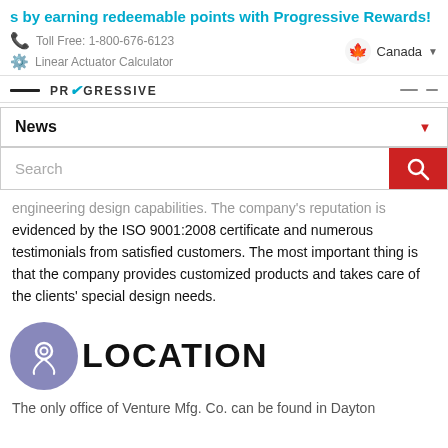s by earning redeemable points with Progressive Rewards!
Toll Free: 1-800-676-6123
Linear Actuator Calculator
Canada
PROGRESSIVE
News
Search
engineering design capabilities. The company's reputation is evidenced by the ISO 9001:2008 certificate and numerous testimonials from satisfied customers. The most important thing is that the company provides customized products and takes care of the clients' special design needs.
LOCATION
The only office of Venture Mfg. Co. can be found in Dayton